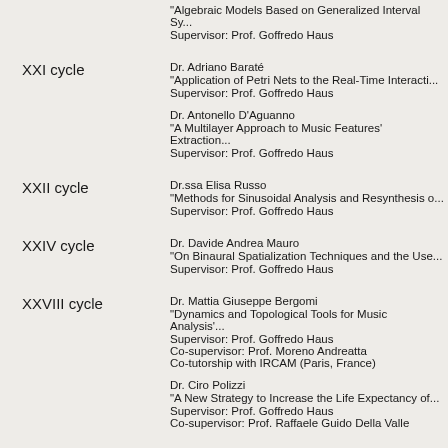"Algebraic Models Based on Generalized Interval Sy...
Supervisor: Prof. Goffredo Haus
XXI cycle
Dr. Adriano Baraté
"Application of Petri Nets to the Real-Time Interacti...
Supervisor: Prof. Goffredo Haus
Dr. Antonello D'Aguanno
"A Multilayer Approach to Music Features' Extraction...
Supervisor: Prof. Goffredo Haus
XXII cycle
Dr.ssa Elisa Russo
"Methods for Sinusoidal Analysis and Resynthesis o...
Supervisor: Prof. Goffredo Haus
XXIV cycle
Dr. Davide Andrea Mauro
"On Binaural Spatialization Techniques and the Use...
Supervisor: Prof. Goffredo Haus
XXVIII cycle
Dr. Mattia Giuseppe Bergomi
"Dynamics and Topological Tools for Music Analysis'...
Supervisor: Prof. Goffredo Haus
Co-supervisor: Prof. Moreno Andreatta
Co-tutorship with IRCAM (Paris, France)
Dr. Ciro Polizzi
"A New Strategy to Increase the Life Expectancy of...
Supervisor: Prof. Goffredo Haus
Co-supervisor: Prof. Raffaele Guido Della Valle